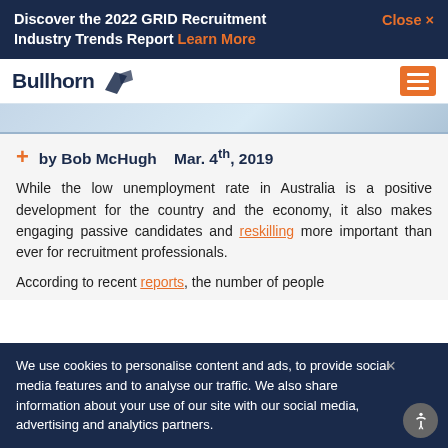Discover the 2022 GRID Recruitment Industry Trends Report Learn More   Close ×
[Figure (logo): Bullhorn logo with bull icon and hamburger menu button]
[Figure (photo): Hero image background gradient representing a decorative banner]
+ by Bob McHugh   Mar. 4th, 2019
While the low unemployment rate in Australia is a positive development for the country and the economy, it also makes engaging passive candidates and reskilling more important than ever for recruitment professionals.
According to recent reports, the number of people
We use cookies to personalise content and ads, to provide social media features and to analyse our traffic. We also share information about your use of our site with our social media, advertising and analytics partners.